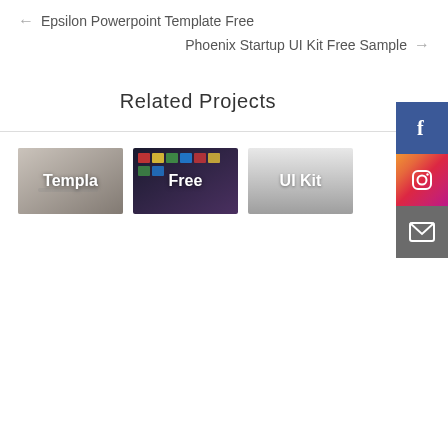← Epsilon Powerpoint Template Free
Phoenix Startup UI Kit Free Sample →
Related Projects
[Figure (screenshot): Three thumbnail images labeled 'Templa', 'Free', and 'UI Kit' representing related projects]
[Figure (screenshot): Social media sidebar with Facebook, Instagram, and email icon buttons on the right edge]